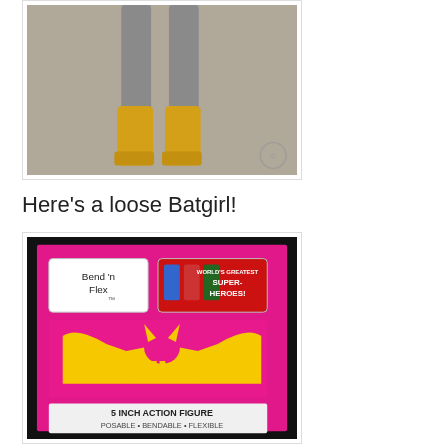[Figure (photo): Photo of a Batgirl action figure showing lower body with grey legs and yellow boots, on a grey carpet background. Watermark/logo visible in bottom right corner.]
Here’s a loose Batgirl!
[Figure (photo): Photo of a Batman Bend 'n Flex 5 inch action figure packaging. Pink card with Batman logo in yellow, text reads 'Bend n Flex', 'World's Greatest Super-Heroes!', 'BATMAN', '5 INCH ACTION FIGURE', 'POSABLE • BENDABLE • FLEXIBLE'.]